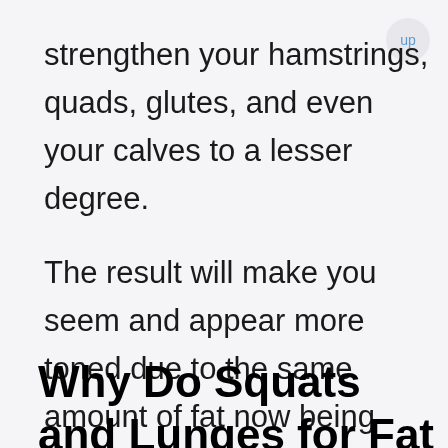strengthen your hamstrings, quads, glutes, and even your calves to a lesser degree.
The result will make you seem and appear more toned due to the same amount of fat now being stretched over a larger surface area.  You will also feel much better!  Being strong feels great!
Why Do Squats and Lunges for Fat